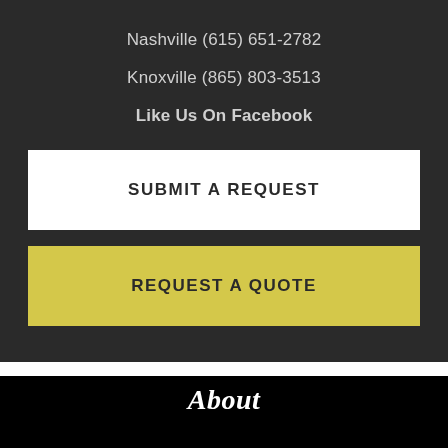Nashville (615) 651-2782
Knoxville (865) 803-3513
Like Us On Facebook
SUBMIT A REQUEST
REQUEST A QUOTE
About